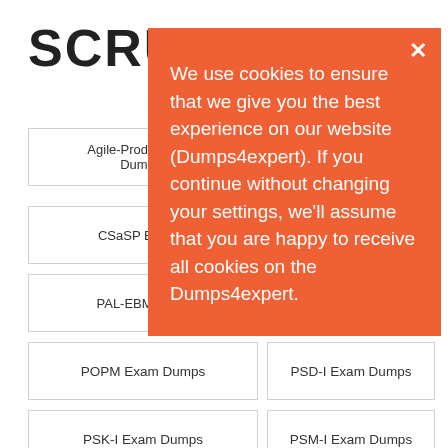SCRUM
Agile-Product-Ma... Dumps
CSaSP Exam...
PAL-EBM Exa...
POPM Exam Dumps
PSD-I Exam Dumps
PSK-I Exam Dumps
PSM-I Exam Dumps
[Figure (screenshot): Cookie consent popup overlay on orange background with close X button and cookie notice text]
We use cookies to ensure that we give you the best experience on our website (Dumps4expert). If you continue without changing your settings, we'll assume that you are happy to receive all cookies on the Dumps4expert.